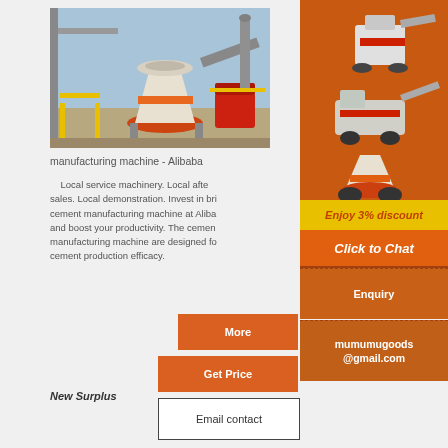[Figure (photo): Industrial cement manufacturing machinery installed outdoors, showing a large cone crusher or similar equipment with orange and red components, scaffolding, and conveyor structures against a blue sky.]
manufacturing machine - Alibaba
Local service machinery. Local after sales. Local demonstration. Invest in brick cement manufacturing machine at Alibaba and boost your productivity. The cement manufacturing machine are designed for cement production efficacy.
[Figure (illustration): Sidebar advertisement showing industrial crushing/mining machines on orange background with text 'Enjoy 3% discount' and 'Click to Chat' button, 'Enquiry' section, and email address mumumugoods@gmail.com]
More
Get Price
New Surplus
Email contact